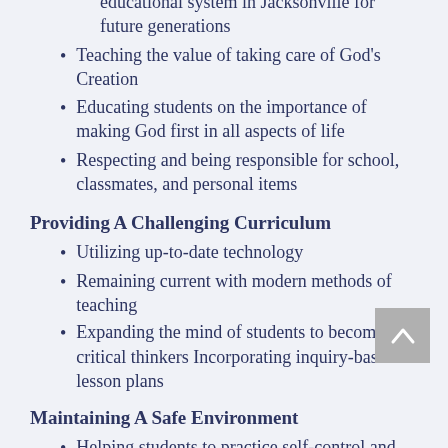educational system in Jacksonville for future generations
Teaching the value of taking care of God's Creation
Educating students on the importance of making God first in all aspects of life
Respecting and being responsible for school, classmates, and personal items
Providing A Challenging Curriculum
Utilizing up-to-date technology
Remaining current with modern methods of teaching
Expanding the mind of students to become critical thinkers Incorporating inquiry-based lesson plans
Maintaining A Safe Environment
Helping students to practice self-control and conflict resolution skills
Creating a healthy parent/teacher partnership
Providing a nurturing and caring